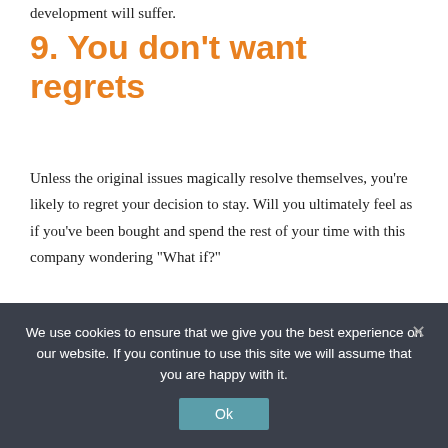development will suffer.
9. You don’t want regrets
Unless the original issues magically resolve themselves, you’re likely to regret your decision to stay. Will you ultimately feel as if you’ve been bought and spend the rest of your time with this company wondering “What if?”
While no one can predict the future, if your career progression is flatlining, exploring new possibilities can be worthwhile. You could make unprecedented progress in your career path. At the very least,
We use cookies to ensure that we give you the best experience on our website. If you continue to use this site we will assume that you are happy with it.